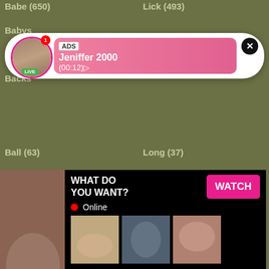Babe (650)
Lick (493)
Babysit...
Back...
Backs...
Ball (63)
Long (37)
Bang...
Bar (2...
Bareh...
Barely...
Bathr...
Bbw (...
Bdsm (368)
Masturbating (468)
Beach (46)
Mature (1233)
Bear (32)
Medical (24)
Beautiful (208)
Mega (16)
Bedroom (20)
Messy (7)
Behind (32)
Mexican (23)
Big (4019)
Midget (11)
[Figure (screenshot): Ad notification popup with live user avatar, ADS badge, name Jeniffer 2000, time (00:12), pink background, X close button]
[Figure (screenshot): Adult ad popup with image, WHAT DO YOU WANT? text, WATCH button, Online indicator, thumbnail images, text about content, ADS label]